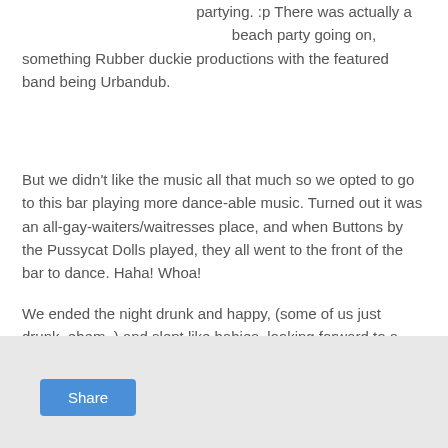partying. :p There was actually a beach party going on, something Rubber duckie productions with the featured band being Urbandub.
But we didn't like the music all that much so we opted to go to this bar playing more dance-able music. Turned out it was an all-gay-waiters/waitresses place, and when Buttons by the Pussycat Dolls played, they all went to the front of the bar to dance. Haha! Whoa!
We ended the night drunk and happy, (some of us just drunk, ehem..) and slept like babies, looking forward to a second and more relaxed day...
Read part 2 here - Puerto Galera: The last summer outing
[Figure (other): Share button area with light gray background]